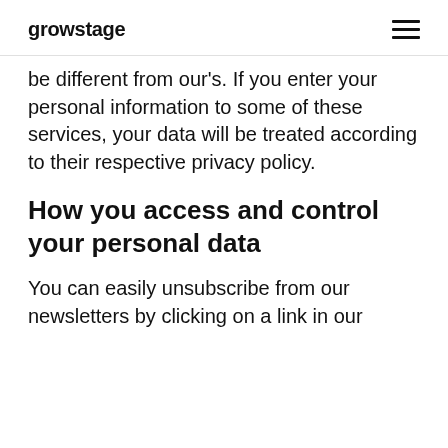growstage
be different from our's. If you enter your personal information to some of these services, your data will be treated according to their respective privacy policy.
How you access and control your personal data
You can easily unsubscribe from our newsletters by clicking on a link in our